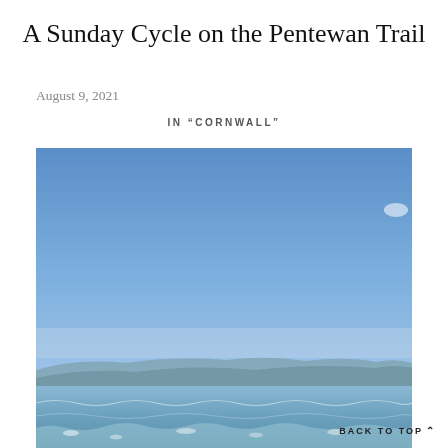A Sunday Cycle on the Pentewan Trail
August 9, 2021
IN "CORNWALL"
[Figure (photo): Ocean scene with blue sky taking up most of the frame and a low coastal horizon with gentle waves visible at the bottom, Cornwall coastline.]
BACK TO TOP ^